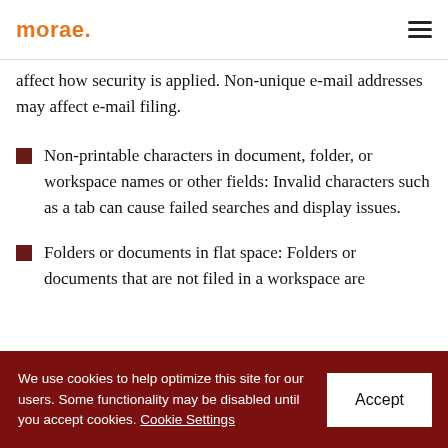morae
affect how security is applied. Non-unique e-mail addresses may affect e-mail filing.
Non-printable characters in document, folder, or workspace names or other fields: Invalid characters such as a tab can cause failed searches and display issues.
Folders or documents in flat space: Folders or documents that are not filed in a workspace are
We use cookies to help optimize this site for our users. Some functionality may be disabled until you accept cookies. Cookie Settings